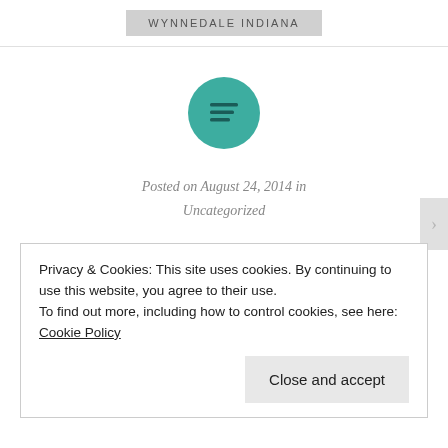WYNNEDALE INDIANA
[Figure (illustration): Teal/green circle with horizontal text-lines icon (hamburger/menu style icon with lines aligned left)]
Posted on August 24, 2014 in
Uncategorized
Privacy & Cookies: This site uses cookies. By continuing to use this website, you agree to their use.
To find out more, including how to control cookies, see here: Cookie Policy
Close and accept